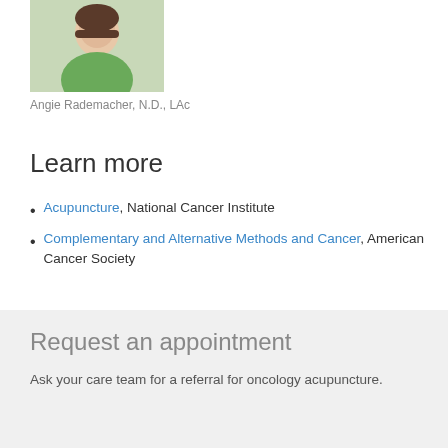[Figure (photo): Headshot of a smiling woman with short dark hair wearing a green top]
Angie Rademacher, N.D., LAc
Learn more
Acupuncture, National Cancer Institute
Complementary and Alternative Methods and Cancer, American Cancer Society
Request an appointment
Ask your care team for a referral for oncology acupuncture.